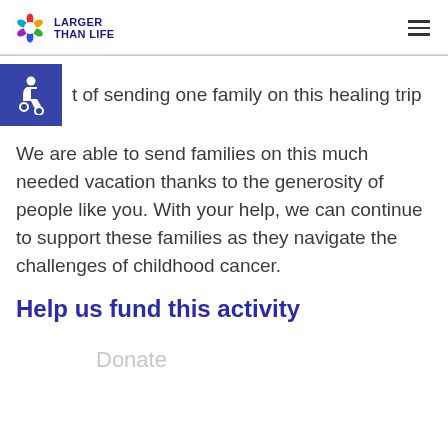LARGER THAN LIFE
[Figure (logo): Larger Than Life logo with colorful circular icon and text]
t of sending one family on this healing trip
We are able to send families on this much needed vacation thanks to the generosity of people like you. With your help, we can continue to support these families as they navigate the challenges of childhood cancer.
Help us fund this activity
Donate